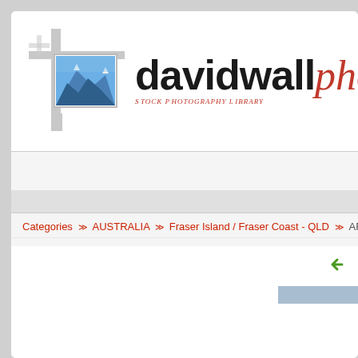[Figure (logo): davidwallphoto.com Stock Photography Library logo with decorative camera frame and mountain photo thumbnail]
HOME   CATEGORIES   NEW IMAGES   THEME SEARCHES   LIG
Categories >> AUSTRALIA >> Fraser Island / Fraser Coast - QLD >> AFsA122